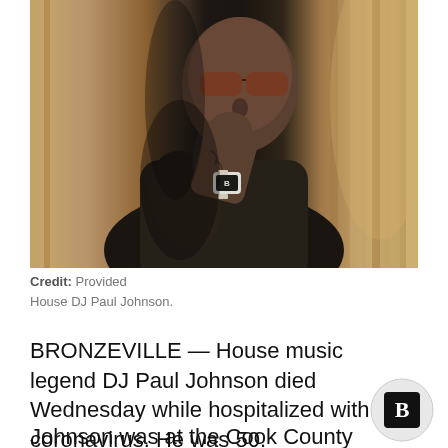[Figure (photo): House DJ Paul Johnson posing with hand near face, wearing sunglasses and a watch, with tattoos visible on forearm, standing against a curtained background]
Credit: Provided
House DJ Paul Johnson.
BRONZEVILLE — House music legend DJ Paul Johnson died Wednesday while hospitalized with coronavirus. He was 50.
Johnson was at the Cook County Medical...